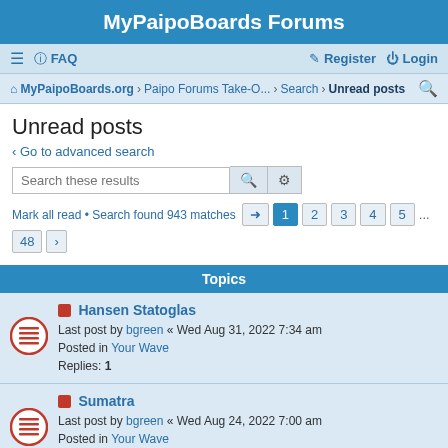MyPaipoBoards Forums
≡  FAQ    Register   Login
MyPaipoBoards.org › Paipo Forums Take-O... › Search › Unread posts
Unread posts
< Go to advanced search
Search these results
Mark all read • Search found 943 matches  [→]  1  2  3  4  5  ...  48  >
Topics
Hansen Statoglas
Last post by bgreen « Wed Aug 31, 2022 7:34 am
Posted in Your Wave
Replies: 1
Sumatra
Last post by bgreen « Wed Aug 24, 2022 7:00 am
Posted in Your Wave
Replies: 1
Ahiboard relaunch
Last post by nomastomas « Sun Aug 21, 2022 11:49 pm
Posted in Paipo Board Design & Building
Replies: 2